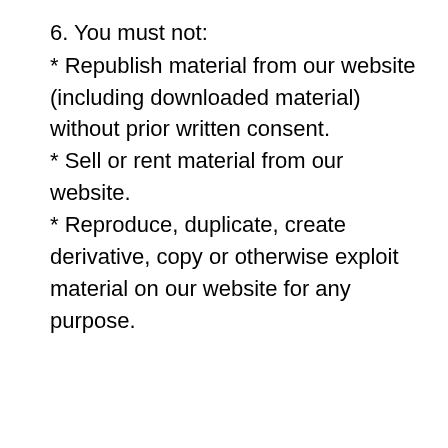6. You must not:
* Republish material from our website (including downloaded material) without prior written consent.
* Sell or rent material from our website.
* Reproduce, duplicate, create derivative, copy or otherwise exploit material on our website for any purpose.